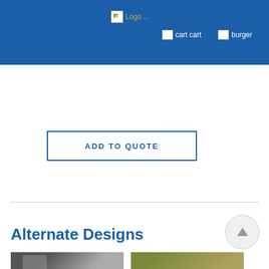Logo cart cart burger
ADD TO QUOTE
Alternate Designs
[Figure (photo): Two product thumbnail images at the bottom of the page]